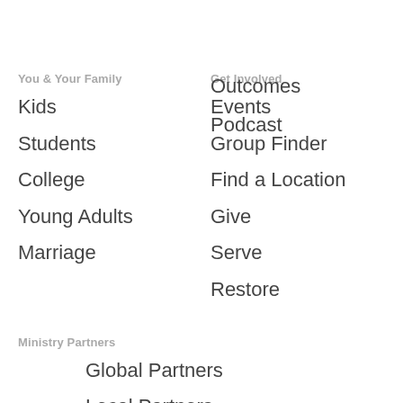Outcomes
Podcast
You & Your Family
Get Involved
Kids
Events
Students
Group Finder
College
Find a Location
Young Adults
Give
Marriage
Serve
Restore
Ministry Partners
Global Partners
Local Partners